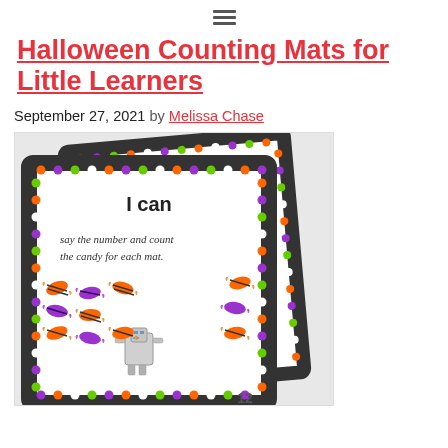≡
Halloween Counting Mats for Little Learners
September 27, 2021 by Melissa Chase
[Figure (photo): Halloween counting mats for little learners educational worksheet showing candy counting activity with colorful polka dot borders and Halloween character illustrations]